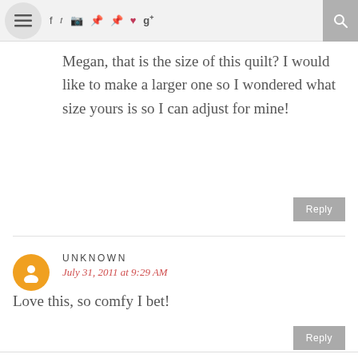Navigation bar with menu, social icons, and search
Megan, that is the size of this quilt? I would like to make a larger one so I wondered what size yours is so I can adjust for mine!
Reply
UNKNOWN
July 31, 2011 at 9:29 AM
Love this, so comfy I bet!
Reply